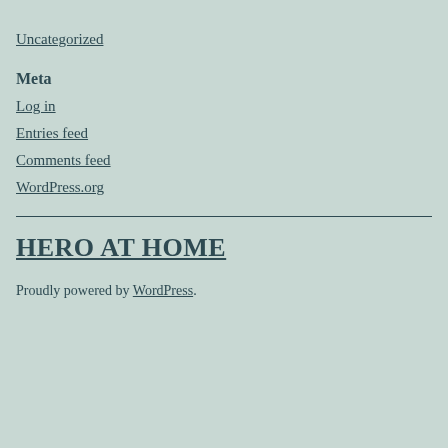Uncategorized
Meta
Log in
Entries feed
Comments feed
WordPress.org
HERO AT HOME
Proudly powered by WordPress.